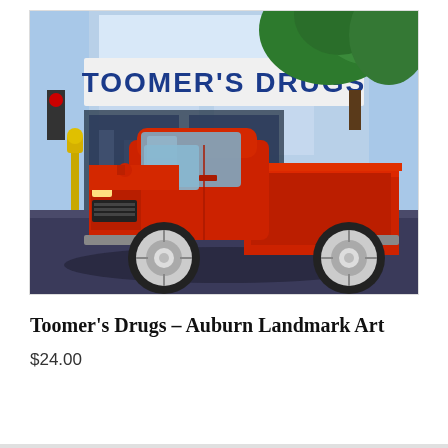[Figure (illustration): Digital painting/illustration of a classic red pickup truck parked in front of Toomer's Drugs store in Auburn. The building has a blue and white facade with 'TOOMER'S DRUGS' signage, green trees in background, yellow parking meter on the left, and a dark street in the foreground. Watermark reads 'Art by Mark S. Tisdale'.]
Toomer's Drugs – Auburn Landmark Art
$24.00